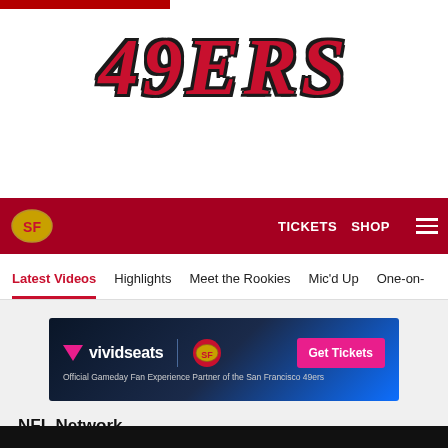[Figure (logo): San Francisco 49ers logo with '49ERS' in large red serif font with black shadow/outline]
TICKETS   SHOP   ☰
Latest Videos   Highlights   Meet the Rookies   Mic'd Up   One-on-
[Figure (other): Vivid Seats advertisement banner: Official Gameday Fan Experience Partner of the San Francisco 49ers with Get Tickets button]
NFL Network
Presented By
[Figure (screenshot): Black video thumbnail area at bottom of page]